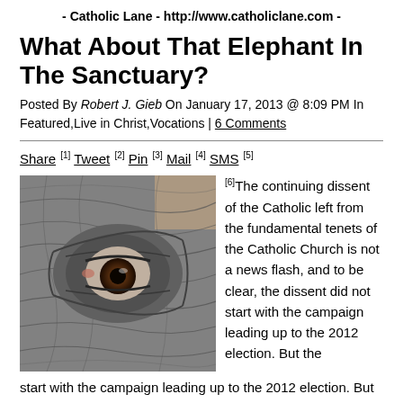- Catholic Lane - http://www.catholiclane.com -
What About That Elephant In The Sanctuary?
Posted By Robert J. Gieb On January 17, 2013 @ 8:09 PM In Featured,Live in Christ,Vocations | 6 Comments
[Figure (photo): Close-up photograph of an elephant's eye showing wrinkled grey skin and a brown amber-colored eye]
[6]The continuing dissent of the Catholic left from the fundamental tenets of the Catholic Church is not a news flash, and to be clear, the dissent did not start with the campaign leading up to the 2012 election. But the